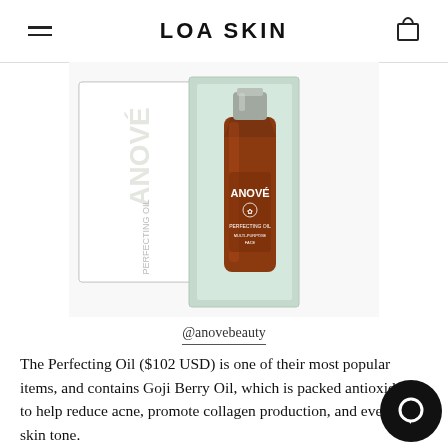LOA SKIN
[Figure (photo): Product photo of ANOVÉ Perfecting Oil bottle (amber/dark orange glass bottle with silver cap) displayed beside its white box packaging with mint green interior, on a white background.]
@anovebeauty
The Perfecting Oil ($102 USD) is one of their most popular items, and contains Goji Berry Oil, which is packed antioxidants to help reduce acne, promote collagen production, and even out skin tone.